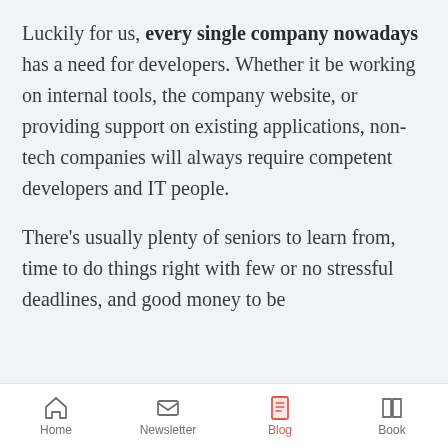Luckily for us, every single company nowadays has a need for developers. Whether it be working on internal tools, the company website, or providing support on existing applications, non-tech companies will always require competent developers and IT people.
There's usually plenty of seniors to learn from, time to do things right with few or no stressful deadlines, and good money to be made. This...
Home | Newsletter | Blog | Book